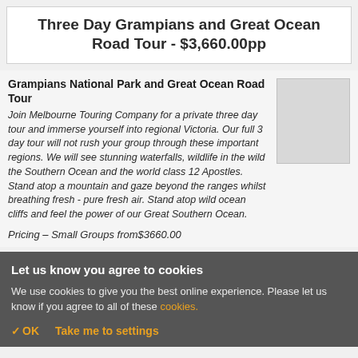Three Day Grampians and Great Ocean Road Tour - $3,660.00pp
Grampians National Park and Great Ocean Road Tour
Join Melbourne Touring Company for a private three day tour and immerse yourself into regional Victoria. Our full 3 day tour will not rush your group through these important regions. We will see stunning waterfalls, wildlife in the wild the Southern Ocean and the world class 12 Apostles. Stand atop a mountain and gaze beyond the ranges whilst breathing fresh - pure fresh air. Stand atop wild ocean cliffs and feel the power of our Great Southern Ocean.
Pricing - Small Groups from$3660.00
[Figure (photo): Thumbnail image placeholder]
Let us know you agree to cookies
We use cookies to give you the best online experience. Please let us know if you agree to all of these cookies.
✓ OK   Take me to settings